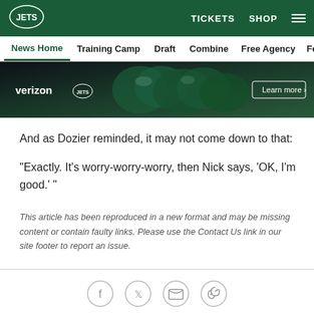New York Jets — TICKETS  SHOP
News Home  Training Camp  Draft  Combine  Free Agency  Fe...
[Figure (screenshot): Verizon advertisement banner featuring New York Jets helmets with 'Learn more' button]
And as Dozier reminded, it may not come down to that:
"Exactly. It's worry-worry-worry, then Nick says, 'OK, I'm good.' "
This article has been reproduced in a new format and may be missing content or contain faulty links. Please use the Contact Us link in our site footer to report an issue.
[Figure (other): Social sharing icons: Facebook, Twitter, Email, Link]